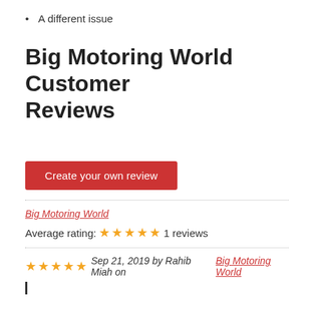A different issue
Big Motoring World Customer Reviews
Create your own review
Big Motoring World
Average rating: ★★★★★ 1 reviews
★★★★★ Sep 21, 2019 by Rahib Miah on Big Motoring World